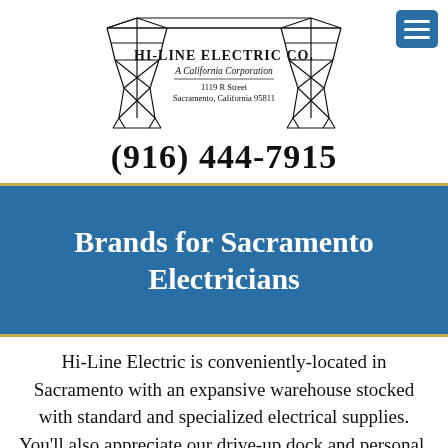[Figure (logo): Hi-Line Electric Co. logo with two electrical transmission towers flanking the company name, tagline 'A California Corporation', and address '1119 R Street, Sacramento, California 95811']
(916) 444-7915
Brands for Sacramento Electricians
Hi-Line Electric is conveniently-located in Sacramento with an expansive warehouse stocked with standard and specialized electrical supplies. You'll also appreciate our drive-up dock and personal, knowledgeable